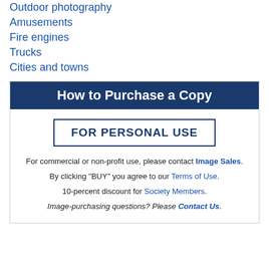Outdoor photography
Amusements
Fire engines
Trucks
Cities and towns
How to Purchase a Copy
FOR PERSONAL USE
For commercial or non-profit use, please contact Image Sales.
By clicking "BUY" you agree to our Terms of Use.
10-percent discount for Society Members.
Image-purchasing questions? Please Contact Us.